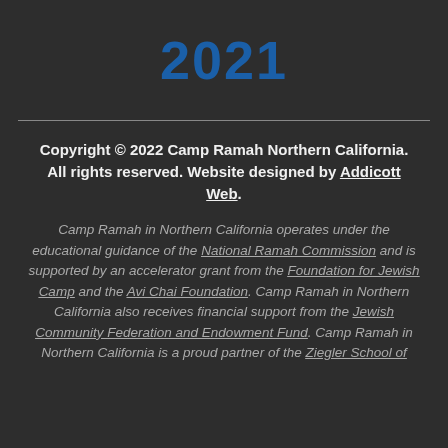2021
Copyright © 2022 Camp Ramah Northern California. All rights reserved. Website designed by Addicott Web.
Camp Ramah in Northern California operates under the educational guidance of the National Ramah Commission and is supported by an accelerator grant from the Foundation for Jewish Camp and the Avi Chai Foundation. Camp Ramah in Northern California also receives financial support from the Jewish Community Federation and Endowment Fund. Camp Ramah in Northern California is a proud partner of the Ziegler School of